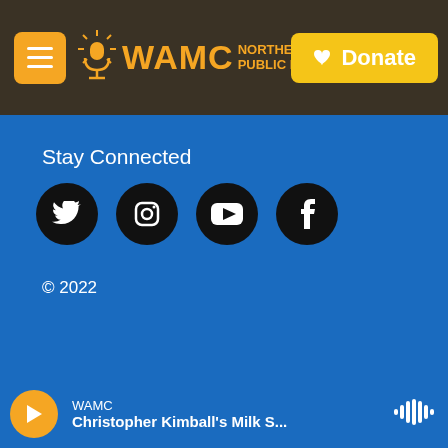[Figure (screenshot): WAMC Northeast Public Radio website header with orange menu button, WAMC logo in orange text, and yellow Donate button]
Stay Connected
[Figure (illustration): Four social media icons in black circles: Twitter, Instagram, YouTube, Facebook]
© 2022
[Figure (logo): Partner logos section on black background: WAMC microphone logo, BBC NEWS World Service, NPR, PRX, American Public Media]
WAMC Christopher Kimball's Milk S...